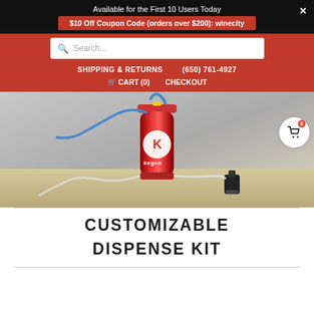Available for the First 10 Users Today
$10 Off Coupon Code (orders over $200): winecity
Search...
SHIPPING & RETURNS   (650) 761-4927
🛒 CART (0)   CHECKOUT
[Figure (photo): Red Kegco branded CO2 cylinder / gas tank with blue and clear tubing attached at top, and a black tap/faucet fitting at the bottom right, placed on a light wooden surface against a grey background.]
CUSTOMIZABLE DISPENSE KIT